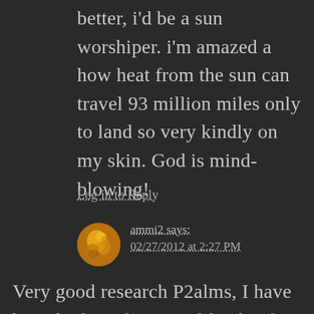better, i'd be a sun worshiper. i'm amazed a how heat from the sun can travel 93 million miles only to land so very kindly on my skin. God is mind-blowing!
Log in to Reply
ammi2 says:
02/27/2012 at 2:27 PM
Very good research P2alms, I have been looking for a site like this for a while